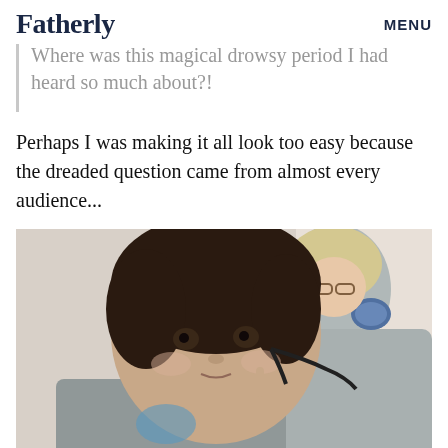Fatherly    MENU
Where was this magical drowsy period I had heard so much about?!
Perhaps I was making it all look too easy because the dreaded question came from almost every audience...
[Figure (photo): A young child with dark hair looking forward while an adult in a light grey uniform/medical coat leans in close to examine or interact with the child]